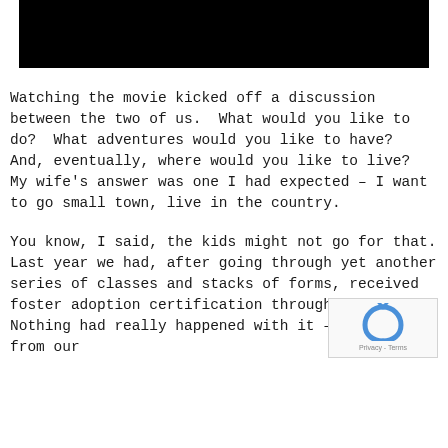[Figure (photo): Black rectangular bar at the top of the page]
Watching the movie kicked off a discussion between the two of us.  What would you like to do?  What adventures would you like to have?  And, eventually, where would you like to live?  My wife's answer was one I had expected – I want to go small town, live in the country.
You know, I said, the kids might not go for that. Last year we had, after going through yet another series of classes and stacks of forms, received foster adoption certification through the state.  Nothing had really happened with it – we heard from our